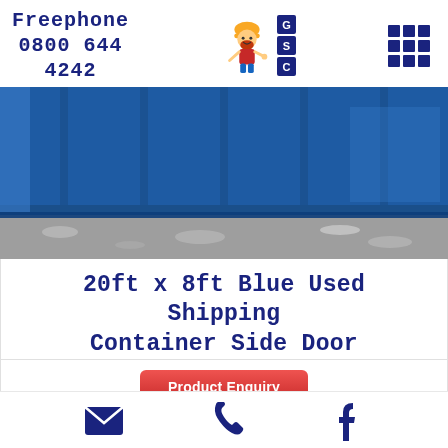Freephone 0800 644 4242
[Figure (photo): Close-up photograph of a blue metal shipping container bottom edge on a gravel/concrete surface]
20ft x 8ft Blue Used Shipping Container Side Door
Product Enquiry (button)
Email, Phone, Facebook icons